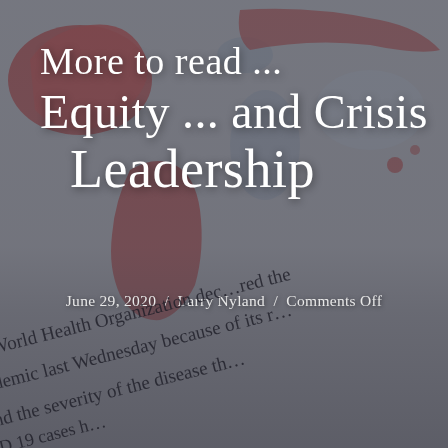[Figure (map): World map with countries highlighted in red and gray, showing a pandemic spread visualization. Red regions cover North America, South America, parts of Europe and Asia.]
More to read ... Equity ... and Crisis Leadership
June 29, 2020 / Larry Nyland / Comments Off
The World Health Organization dec...red the pandemic last Wednesday because of its r... ...nd the severity of the disease th... ...D 19 cases h...